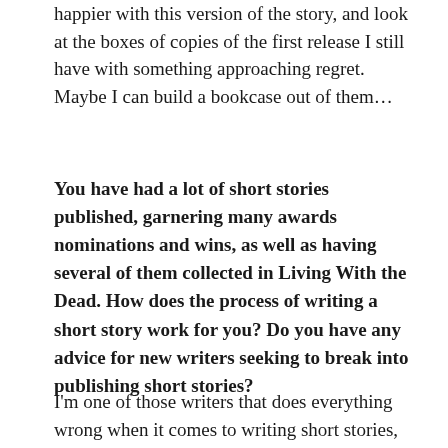happier with this version of the story, and look at the boxes of copies of the first release I still have with something approaching regret.  Maybe I can build a bookcase out of them…
You have had a lot of short stories published, garnering many awards nominations and wins, as well as having several of them collected in Living With the Dead. How does the process of writing a short story work for you? Do you have any advice for new writers seeking to break into publishing short stories?
I'm one of those writers that does everything wrong when it comes to writing short stories, so I'm really not